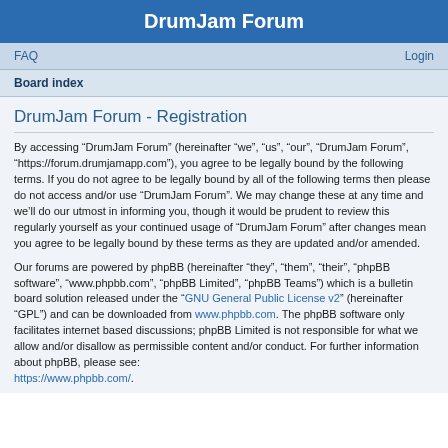DrumJam Forum
FAQ   Login
Board index
DrumJam Forum - Registration
By accessing “DrumJam Forum” (hereinafter “we”, “us”, “our”, “DrumJam Forum”, “https://forum.drumjamapp.com”), you agree to be legally bound by the following terms. If you do not agree to be legally bound by all of the following terms then please do not access and/or use “DrumJam Forum”. We may change these at any time and we’ll do our utmost in informing you, though it would be prudent to review this regularly yourself as your continued usage of “DrumJam Forum” after changes mean you agree to be legally bound by these terms as they are updated and/or amended.
Our forums are powered by phpBB (hereinafter “they”, “them”, “their”, “phpBB software”, “www.phpbb.com”, “phpBB Limited”, “phpBB Teams”) which is a bulletin board solution released under the “GNU General Public License v2” (hereinafter “GPL”) and can be downloaded from www.phpbb.com. The phpBB software only facilitates internet based discussions; phpBB Limited is not responsible for what we allow and/or disallow as permissible content and/or conduct. For further information about phpBB, please see: https://www.phpbb.com/.